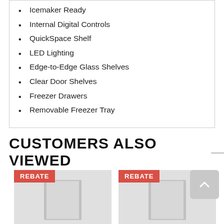Icemaker Ready
Internal Digital Controls
QuickSpace Shelf
LED Lighting
Edge-to-Edge Glass Shelves
Clear Door Shelves
Freezer Drawers
Removable Freezer Tray
CUSTOMERS ALSO VIEWED
[Figure (photo): Product image with REBATE badge - refrigerator 1]
[Figure (photo): Product image with REBATE badge - refrigerator 2]